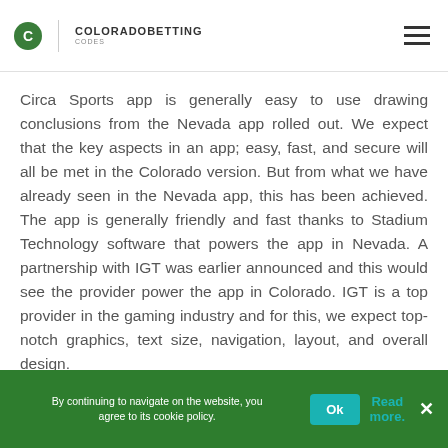COLORADOBETTING CODES
Circa Sports app is generally easy to use drawing conclusions from the Nevada app rolled out. We expect that the key aspects in an app; easy, fast, and secure will all be met in the Colorado version. But from what we have already seen in the Nevada app, this has been achieved. The app is generally friendly and fast thanks to Stadium Technology software that powers the app in Nevada. A partnership with IGT was earlier announced and this would see the provider power the app in Colorado. IGT is a top provider in the gaming industry and for this, we expect top-notch graphics, text size, navigation, layout, and overall design.
By continuing to navigate on the website, you agree to its cookie policy. Ok Read more ×